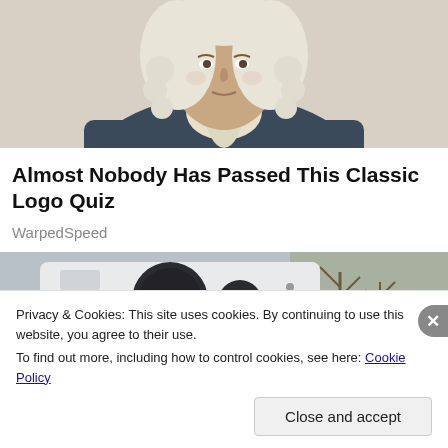[Figure (illustration): Illustration of a historical figure in colonial-era clothing with white powdered wig, dark coat and white cravat, cropped to show head and upper torso]
Almost Nobody Has Passed This Classic Logo Quiz
WarpedSpeed
[Figure (photo): Photo showing what appears to be a vehicle or machinery with dark circular elements, outdoor scene with bare trees in background]
Privacy & Cookies: This site uses cookies. By continuing to use this website, you agree to their use.
To find out more, including how to control cookies, see here: Cookie Policy
Close and accept